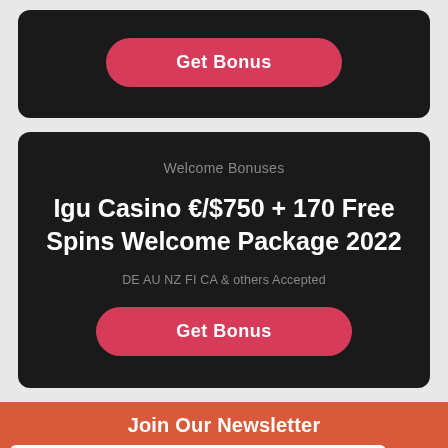[Figure (screenshot): Get Bonus button in dark card at top]
Welcome Bonuses
Igu Casino €/$750 + 170 Free Spins Welcome Package 2022
DE AU NZ FI CA & others Accepted
Get Bonus
Join Our Newsletter
Enter your email
Subscribe